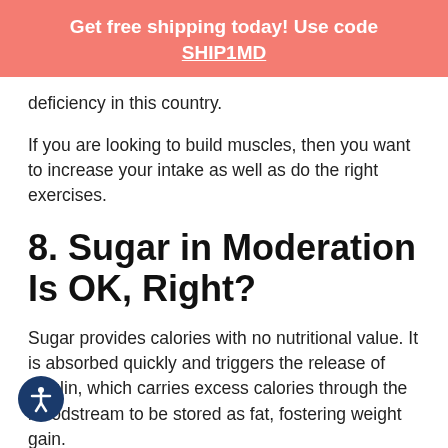Get free shipping today! Use code SHIP1MD
deficiency in this country.
If you are looking to build muscles, then you want to increase your intake as well as do the right exercises.
8. Sugar in Moderation Is OK, Right?
Sugar provides calories with no nutritional value. It is absorbed quickly and triggers the release of insulin, which carries excess calories through the bloodstream to be stored as fat, fostering weight gain.